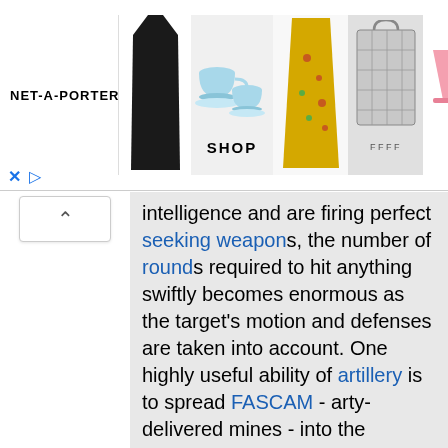[Figure (screenshot): NET-A-PORTER advertisement banner showing clothing and home goods products including a black dress, teacups, yellow floral coat, handbag, pink glasses, and striped item. Has a SHOP label and close/play icons.]
intelligence and are firing perfect seeking weapons, the number of rounds required to hit anything swiftly becomes enormous as the target's motion and defenses are taken into account. One highly useful ability of artillery is to spread FASCAM - arty-delivered mines - into the target's